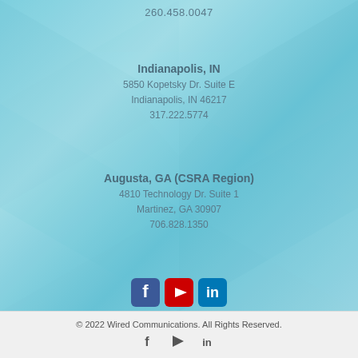260.458.0047
Indianapolis, IN
5850 Kopetsky Dr. Suite E
Indianapolis, IN 46217
317.222.5774
Augusta, GA (CSRA Region)
4810 Technology Dr. Suite 1
Martinez, GA 30907
706.828.1350
[Figure (illustration): Social media icons: Facebook (blue), YouTube (red), LinkedIn (blue)]
© 2022 Wired Communications. All Rights Reserved.
[Figure (illustration): Footer social icons: Facebook, play button, LinkedIn]